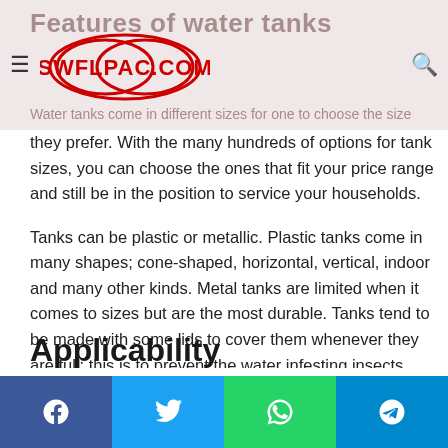SWFLPAC.COM
Features of water tanks
Water tanks come in different sizes for one to choose the size they prefer. With the many hundreds of options for tank sizes, you can choose the ones that fit your price range and still be in the position to service your households.
Tanks can be plastic or metallic. Plastic tanks come in many shapes; cone-shaped, horizontal, vertical, indoor and many other kinds. Metal tanks are limited when it comes to sizes but are the most durable. Tanks tend to be made with some lids to cover them whenever they are full; this is to prevent the water infesting insects from getting on the tank and contaminating the water in the tank.
Applicability
Facebook Twitter WhatsApp Telegram